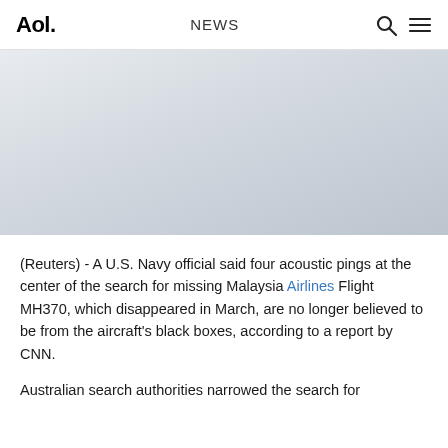Aol. NEWS
[Figure (photo): Light gray gradient image placeholder area, likely a news photo related to MH370 search]
(Reuters) - A U.S. Navy official said four acoustic pings at the center of the search for missing Malaysia Airlines Flight MH370, which disappeared in March, are no longer believed to be from the aircraft's black boxes, according to a report by CNN.
Australian search authorities narrowed the search for